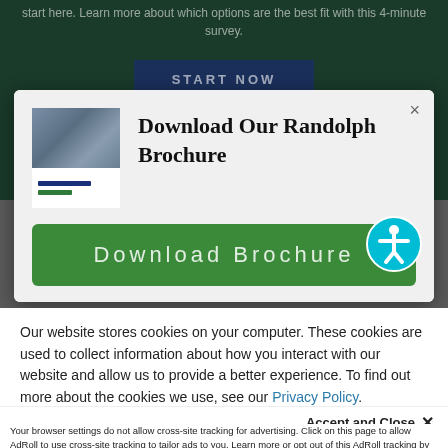start here. Learn more about which options are the best fit with this 4-minute survey.
[Figure (screenshot): START NOW button on dark green background]
[Figure (screenshot): Modal dialog with brochure image and Download Our Randolph Brochure title with Download Brochure button and accessibility icon]
Our website stores cookies on your computer. These cookies are used to collect information about how you interact with our website and allow us to provide a better experience. To find out more about the cookies we use, see our Privacy Policy.
Accept and Close ×
Your browser settings do not allow cross-site tracking for advertising. Click on this page to allow AdRoll to use cross-site tracking to tailor ads to you. Learn more or opt out of this AdRoll tracking by clicking here. This message only appears once.